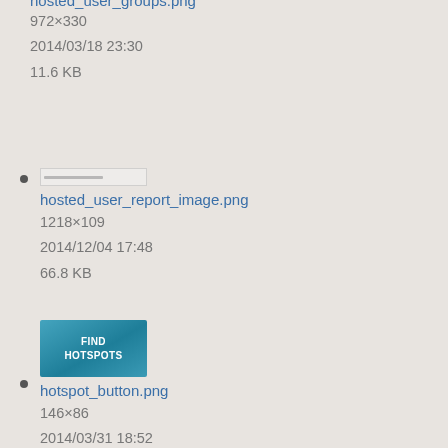hosted_user_groups.png
972×330
2014/03/18 23:30
11.6 KB
[Figure (screenshot): Small thumbnail of hosted_user_report_image.png showing a blurred report row]
hosted_user_report_image.png
1218×109
2014/12/04 17:48
66.8 KB
[Figure (screenshot): Thumbnail of hotspot_button.png showing a teal button with text FIND HOTSPOTS]
hotspot_button.png
146×86
2014/03/31 18:52
11.4 KB
[Figure (screenshot): Thumbnail of hotspot_finder1.png showing a finder interface screenshot]
hotspot_finder1.png
627×194
2013/06/21 23:06
5.3 KB